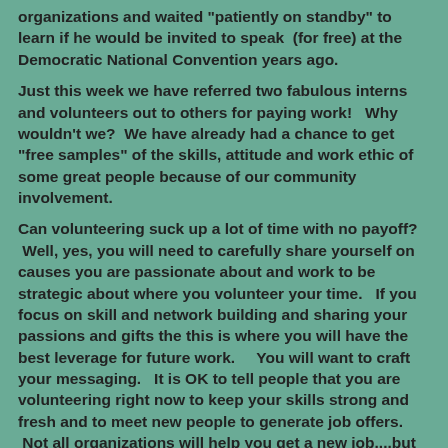organizations and waited "patiently on standby" to learn if he would be invited to speak  (for free) at the Democratic National Convention years ago.
Just this week we have referred two fabulous interns and volunteers out to others for paying work!   Why wouldn't we?  We have already had a chance to get "free samples" of the skills, attitude and work ethic of some great people because of our community involvement.
Can volunteering suck up a lot of time with no payoff?  Well, yes, you will need to carefully share yourself on causes you are passionate about and work to be strategic about where you volunteer your time.   If you focus on skill and network building and sharing your passions and gifts the this is where you will have the best leverage for future work.      You will want to craft your messaging.    It is OK to tell people that you are volunteering right now to keep your skills strong and fresh and to meet new people to generate job offers.  Not all organizations will help you get a new job....but many will and you can taylor how you spend your time